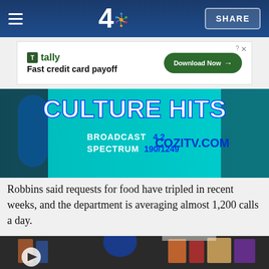NBC 4 — SHARE
[Figure (screenshot): Tally advertisement banner: Fast credit card payoff — Download Now button]
[Figure (photo): COZI TV advertisement banner: CULTURE HITS — BROADCAST 4.2, SPECTRUM 190/1249, COZITV.COM]
Robbins said requests for food have tripled in recent weeks, and the department is averaging almost 1,200 calls a day.
[Figure (photo): Video thumbnail of a person wearing a mask browsing grocery store aisles, with a play button overlay]